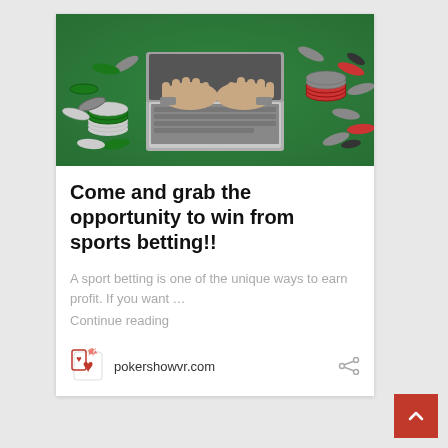[Figure (photo): Overhead view of hands typing on a laptop keyboard surrounded by poker chips on a green felt surface]
Come and grab the opportunity to win from sports betting!!
A sport betting is one of the unique ways to earn profit. If you want ...
Continue reading
pokershowvr.com